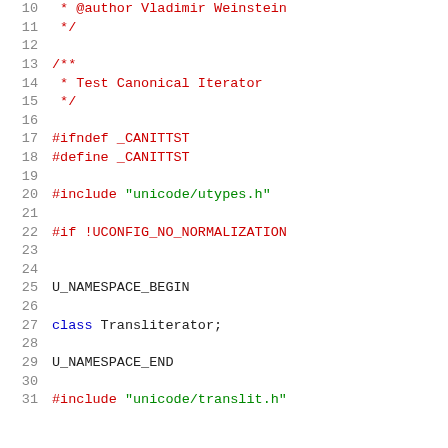[Figure (screenshot): Source code listing showing C/C++ header file lines 10-31, with syntax highlighting: line numbers in gray on the left, preprocessor directives and comments in red, string literals in green, keywords in blue, and regular identifiers in black.]